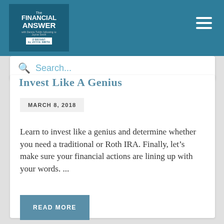The Financial Answer
Invest Like A Genius
MARCH 8, 2018
Learn to invest like a genius and determine whether you need a traditional or Roth IRA. Finally, let’s make sure your financial actions are lining up with your words. ...
READ MORE